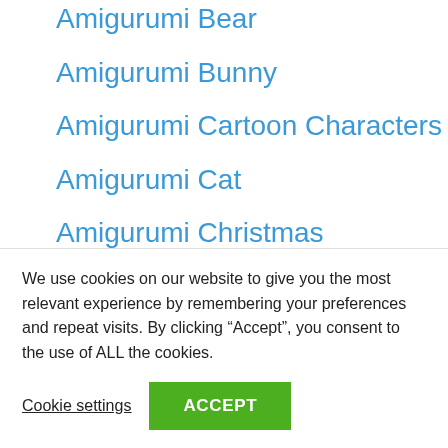Amigurumi Bear
Amigurumi Bunny
Amigurumi Cartoon Characters
Amigurumi Cat
Amigurumi Christmas
Amigurumi Dog
Amigurumi Doll
Amigurumi Elephant
Amigurumi Lion
We use cookies on our website to give you the most relevant experience by remembering your preferences and repeat visits. By clicking “Accept”, you consent to the use of ALL the cookies.
Cookie settings
ACCEPT